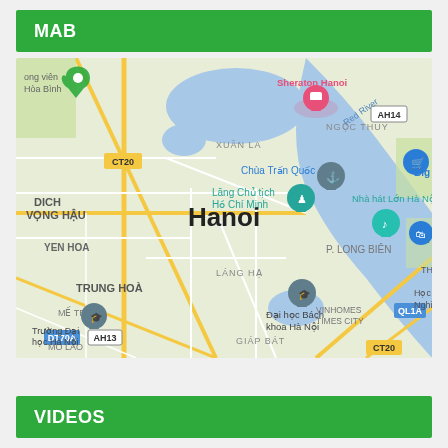MAB
[Figure (map): Google Maps view of Hanoi, Vietnam, showing landmarks including Sheraton Hanoi, Chua Tran Quoc, Lang Chu tich Ho Chi Minh, Nha hat Lon Ha Noi, Dai hoc Bach khoa Ha Noi, Truong Dai hoc Ha Noi, with neighborhoods DICH VONG HAU, YEN HOA, TRUNG HOA, XUAN LA, NGOC THUY, P. LONG BIEN, VINHOMES TIMES CITY, GIAP BAT, ME TRI, MO LAO, LANG HA, and roads CT20, AH14, QL1A, DT70A, AH13, CT20]
VIDEOS